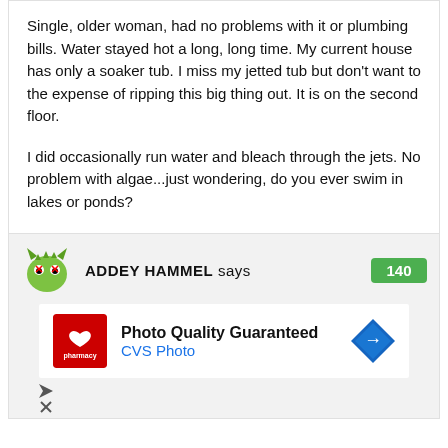Single, older woman, had no problems with it or plumbing bills. Water stayed hot a long, long time. My current house has only a soaker tub. I miss my jetted tub but don't want to the expense of ripping this big thing out. It is on the second floor.
I did occasionally run water and bleach through the jets. No problem with algae...just wondering, do you ever swim in lakes or ponds?
ADDEY HAMMEL says
[Figure (illustration): Green monster avatar with horns and eyes]
140
[Figure (logo): CVS Pharmacy logo - red square with white heart and text]
Photo Quality Guaranteed
CVS Photo